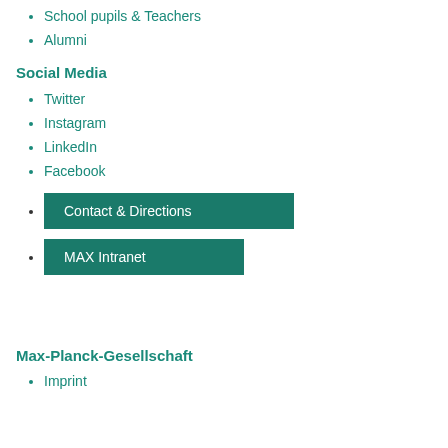School pupils & Teachers
Alumni
Social Media
Twitter
Instagram
LinkedIn
Facebook
Contact & Directions
MAX Intranet
Max-Planck-Gesellschaft
Imprint